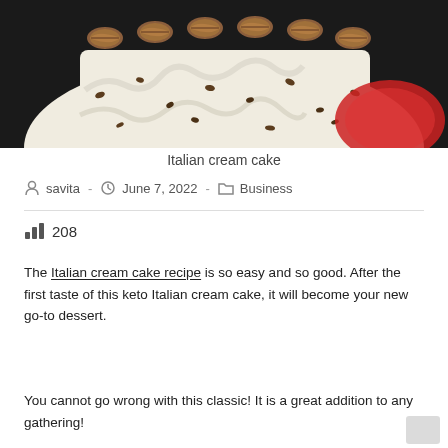[Figure (photo): Photo of an Italian cream cake with white frosting, chocolate chip pieces in the frosting, topped with whole pecans, sitting on a red plate against a dark background.]
Italian cream cake
Post author: savita  -  Post date: June 7, 2022  -  Post category: Business
208 (views icon)
The Italian cream cake recipe is so easy and so good. After the first taste of this keto Italian cream cake, it will become your new go-to dessert.
You cannot go wrong with this classic! It is a great addition to any gathering!